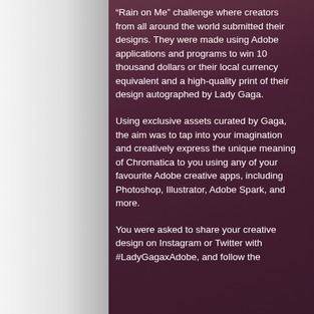“Rain on Me” challenge where creators from all around the world submitted their designs. They were made using Adobe applications and programs to win 10 thousand dollars or their local currency equivalent and a high-quality print of their design autographed by Lady Gaga.
Using exclusive assets curated by Gaga, the aim was to tap into your imagination and creatively express the unique meaning of Chromatica to you using any of your favourite Adobe creative apps, including Photoshop, Illustrator, Adobe Spark, and more.
You were asked to share your creative design on Instagram or Twitter with #LadyGagaxAdobe, and follow the